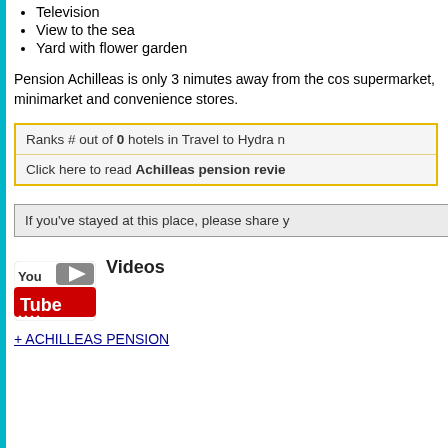Television
View to the sea
Yard with flower garden
Pension Achilleas is only 3 nimutes away from the cos supermarket, minimarket and convenience stores.
Ranks # out of 0 hotels in Travel to Hydra n
Click here to read Achilleas pension revie
If you've stayed at this place, please share y
[Figure (logo): YouTube logo with play button icon]
Videos
+ ACHILLEAS PENSION